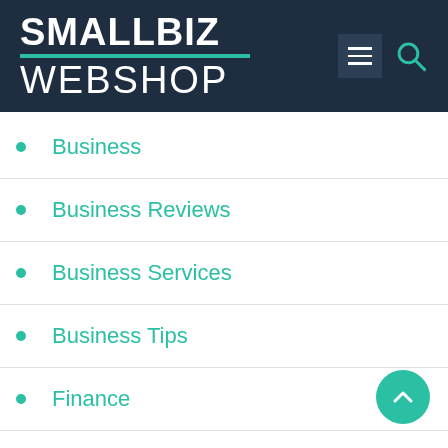[Figure (logo): SmallBiz Webshop logo with white bold text on dark navy background, teal underline, with hamburger menu and search icons on the right]
Business
Business Reviews
Business Services
Business Tips
Finance
Marketing
Marketing Advice